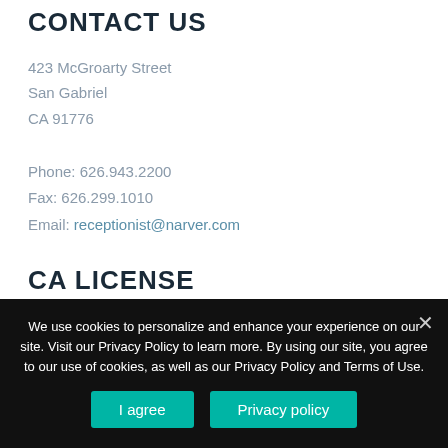CONTACT US
423 McGroarty Street
San Gabriel
CA 91776
Phone: 626.943.2200
Fax: 626.299.1010
Email: receptionist@narver.com
CA LICENSE
We use cookies to personalize and enhance your experience on our site. Visit our Privacy Policy to learn more. By using our site, you agree to our use of cookies, as well as our Privacy Policy and Terms of Use.
I agree  Privacy policy